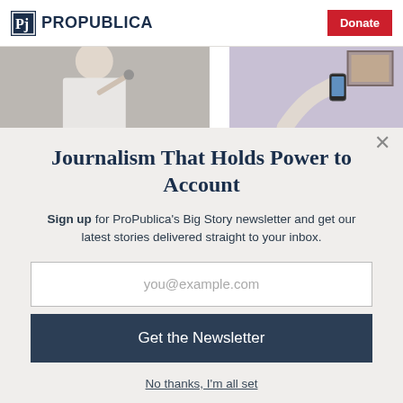ProPublica | Donate
[Figure (photo): Two photos side by side: left shows a person speaking at a microphone in a white shirt, right shows a person holding a smartphone against a purple wall with a framed picture]
Journalism That Holds Power to Account
Sign up for ProPublica's Big Story newsletter and get our latest stories delivered straight to your inbox.
you@example.com
Get the Newsletter
No thanks, I'm all set
This site is protected by reCAPTCHA and the Google Privacy Policy and Terms of Service apply.